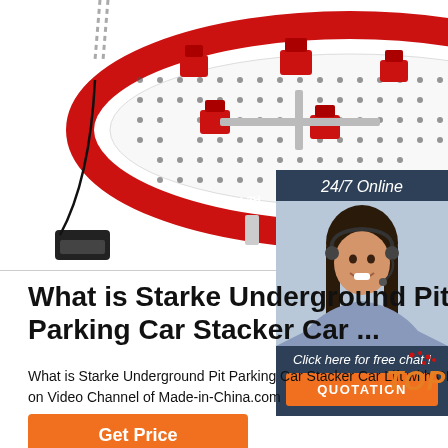[Figure (photo): Product photo of Starke Underground Pit Parking Car Stacker car lift equipment (SLD-L3H), showing a red and white oval-shaped frame with multiple red clamps/jacks on a white perforated surface, hanging chains, cable and foot pedal controls visible]
[Figure (photo): Chat widget with woman wearing headset, '24/7 Online' banner, 'Click here for free chat!' text, and orange QUOTATION button]
What is Starke Underground Pit Parking Car Stacker Car ...
What is Starke Underground Pit Parking Car Stacker Car Lift with CE, ST2127 introduction video manufacturers & suppliers on Video Channel of Made-in-China.com
Get Price